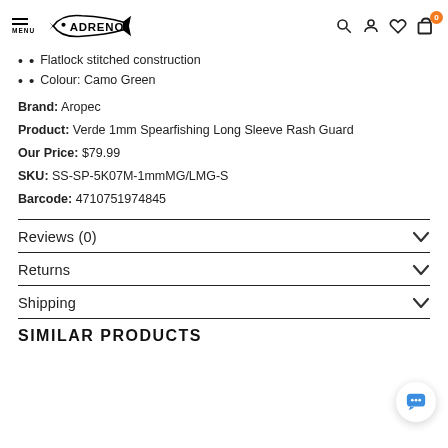MENU | ADRENO | [search] [account] [wishlist] [cart 0]
Flatlock stitched construction
Colour: Camo Green
Brand: Aropec
Product: Verde 1mm Spearfishing Long Sleeve Rash Guard
Our Price: $79.99
SKU: SS-SP-5K07M-1mmMG/LMG-S
Barcode: 4710751974845
Reviews (0)
Returns
Shipping
SIMILAR PRODUCTS